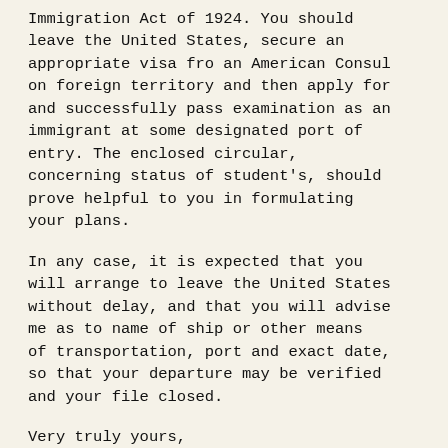Immigration Act of 1924. You should leave the United States, secure an appropriate visa fro an American Consul on foreign territory and then apply for and successfully pass examination as an immigrant at some designated port of entry. The enclosed circular, concerning status of student's, should prove helpful to you in formulating your plans.
In any case, it is expected that you will arrange to leave the United States without delay, and that you will advise me as to name of ship or other means of transportation, port and exact date, so that your departure may be verified and your file closed.
Very truly yours,